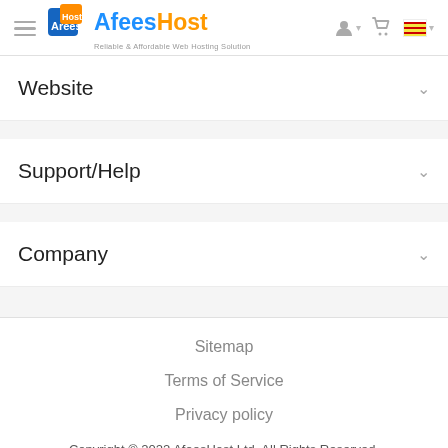AfeesHost - Reliable & Affordable Web Hosting Solution
Website
Support/Help
Company
Sitemap
Terms of Service
Privacy policy
Copyright © 2022 AfeesHost Ltd. All Rights Reserved.